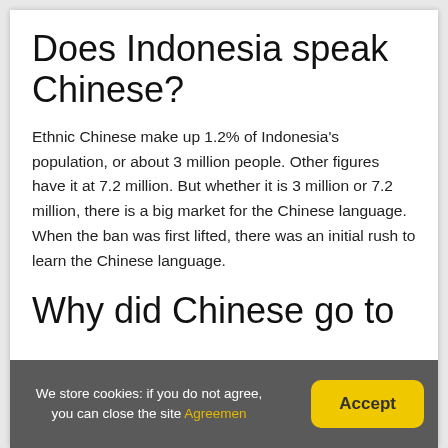Does Indonesia speak Chinese?
Ethnic Chinese make up 1.2% of Indonesia's population, or about 3 million people. Other figures have it at 7.2 million. But whether it is 3 million or 7.2 million, there is a big market for the Chinese language. When the ban was first lifted, there was an initial rush to learn the Chinese language.
Why did Chinese go to Indonesia?
We store cookies: if you do not agree, you can close the site Agreemen  Accept